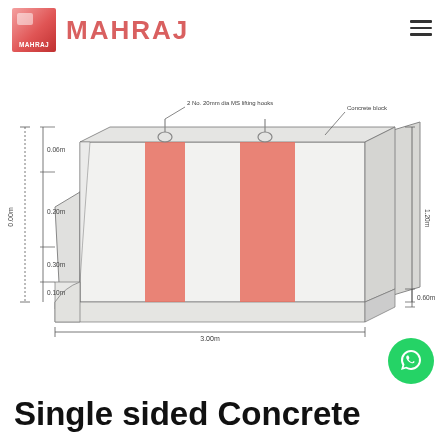MAHRAJ
[Figure (engineering-diagram): Technical drawing of a single-sided concrete road barrier (Jersey barrier) with red/white striped panels. Dimensions labeled: height sections on left side (0.06m, 0.00m, 0.20m, 0.10m), total length 3.00m at bottom, 0.60m base width at right, 1.20m total height at right. Two connectors/hooks shown on top. Labels indicate 2 No. 20mm dia MS lifting hooks and Concrete block.]
Single sided Concrete